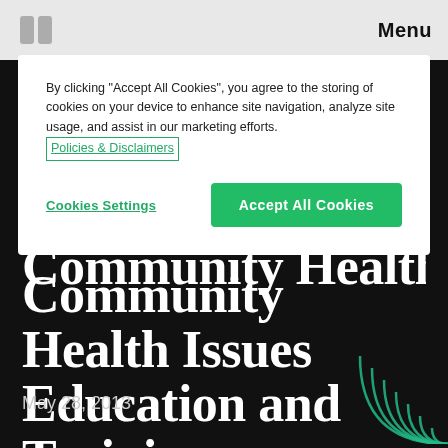Menu
By clicking "Accept All Cookies", you agree to the storing of cookies on your device to enhance site navigation, analyze site usage, and assist in our marketing efforts. Policies & Disclaimers
Cookies Settings
Accept All Cookies
Community Health Issues Education and Training Materials on Concussion Laws
May 28, 2013